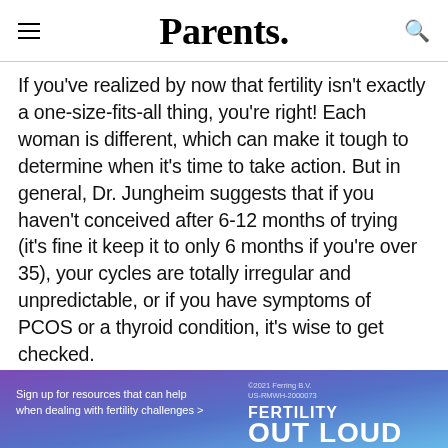Parents.
If you've realized by now that fertility isn't exactly a one-size-fits-all thing, you're right! Each woman is different, which can make it tough to determine when it's time to take action. But in general, Dr. Jungheim suggests that if you haven't conceived after 6-12 months of trying (it's fine it keep it to only 6 months if you're over 35), your cycles are totally irregular and unpredictable, or if you have symptoms of PCOS or a thyroid condition, it's wise to get checked.
Ad
[Figure (infographic): Advertisement banner for 'Fertility Out Loud' by Ferring B.V. Blue/purple gradient background. Left side: 'Sign up for resources that can help when dealing with fertility challenges >' Right side: bold white text reading 'FERTILITY OUT LOUD'. Small copyright text: ©2021 Ferring B.V. US-RMWH-2000073]